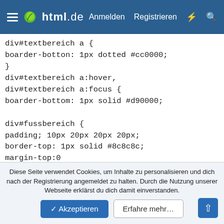html.de  Anmelden  Registrieren
div#textbereich a {
boarder-botton: 1px dotted #cc0000;
}
div#textbereich a:hover,
div#textbereich a:focus {
boarder-bottom: 1px solid #d90000;

div#fussbereich {
padding; 10px 20px 20px 20px;
border-top: 1px solid #8c8c8c;
margin-top:0
}
/*
========================================================
========
Diese Seite verwendet Cookies, um Inhalte zu personalisieren und dich nach der Registrierung angemeldet zu halten. Durch die Nutzung unserer Webseite erklärst du dich damit einverstanden.